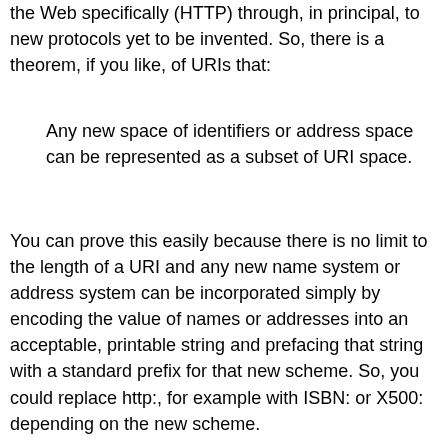the Web specifically (HTTP) through, in principal, to new protocols yet to be invented. So, there is a theorem, if you like, of URIs that:
Any new space of identifiers or address space can be represented as a subset of URI space.
You can prove this easily because there is no limit to the length of a URI and any new name system or address system can be incorporated simply by encoding the value of names or addresses into an acceptable, printable string and prefacing that string with a standard prefix for that new scheme. So, you could replace http:, for example with ISBN: or X500: depending on the new scheme.
There is a second axiom of URIs which is difficult to characterize exactly but accepted in some form by everyone who uses the Web in some form and that is that:
Axiom 2a: sameness